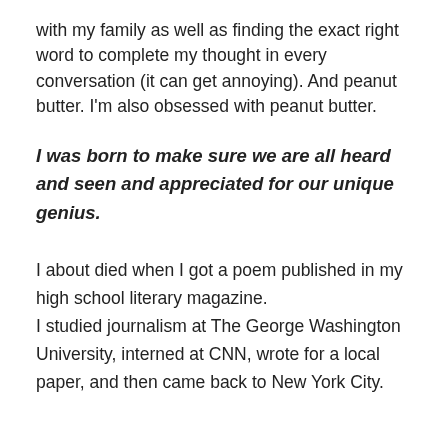with my family as well as finding the exact right word to complete my thought in every conversation (it can get annoying). And peanut butter. I'm also obsessed with peanut butter.
I was born to make sure we are all heard and seen and appreciated for our unique genius.
I about died when I got a poem published in my high school literary magazine. I studied journalism at The George Washington University, interned at CNN, wrote for a local paper, and then came back to New York City.